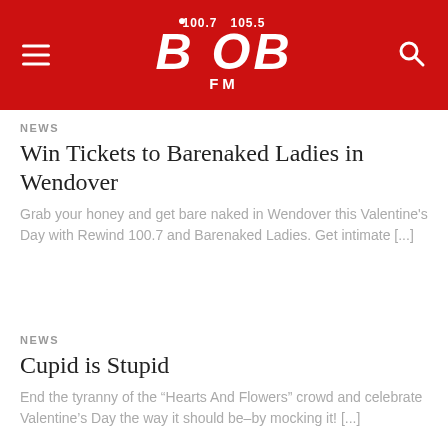100.7 105.5 BOB FM
NEWS
Win Tickets to Barenaked Ladies in Wendover
Grab your honey and get bare naked in Wendover this Valentine's Day with Rewind 100.7 and Barenaked Ladies. Get intimate [...]
NEWS
Cupid is Stupid
End the tyranny of the “Hearts And Flowers” crowd and celebrate Valentine’s Day the way it should be–by mocking it! [...]